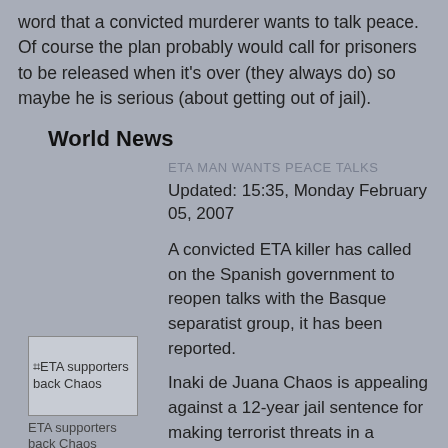word that a convicted murderer wants to talk peace. Of course the plan probably would call for prisoners to be released when it's over (they always do) so maybe he is serious (about getting out of jail).
World News
ETA MAN WANTS PEACE TALKS
Updated: 15:35, Monday February 05, 2007
A convicted ETA killer has called on the Spanish government to reopen talks with the Basque separatist group, it has been reported.
[Figure (photo): Image placeholder showing ETA supporters back Chaos]
ETA supporters back Chaos
Inaki de Juana Chaos is appealing against a 12-year jail sentence for making terrorist threats in a Basque newspaper.
He has already served a 20-year